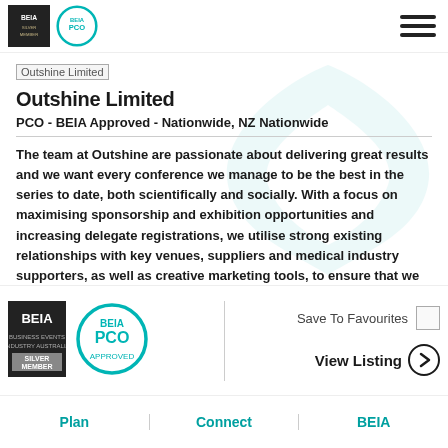BEIA SILVER MEMBER | BEIA PCO APPROVED
[Figure (logo): Outshine Limited company logo placeholder with text 'Outshine Limited']
Outshine Limited
PCO - BEIA Approved - Nationwide, NZ Nationwide
The team at Outshine are passionate about delivering great results and we want every conference we manage to be the best in the series to date, both scientifically and socially. With a focus on maximising sponsorship and exhibition opportunities and increasing delegate registrations, we utilise strong existing relationships with key venues, suppliers and medical industry supporters, as well as creative marketing tools, to ensure that we consistently surpass our clients' expectations.
[Figure (logo): BEIA Silver Member badge]
[Figure (logo): BEIA PCO Approved circular badge]
Save To Favourites
View Listing
Plan | Connect | BEIA